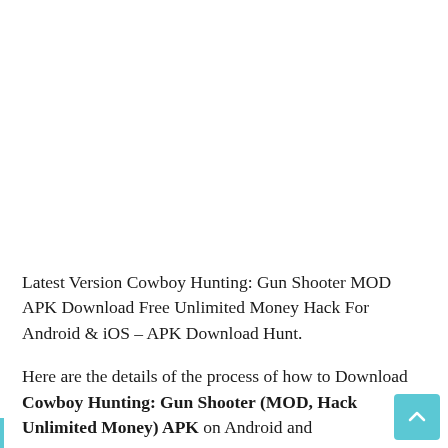Latest Version Cowboy Hunting: Gun Shooter MOD APK Download Free Unlimited Money Hack For Android & iOS – APK Download Hunt.
Here are the details of the process of how to Download Cowboy Hunting: Gun Shooter (MOD, Hack Unlimited Money) APK on Android and